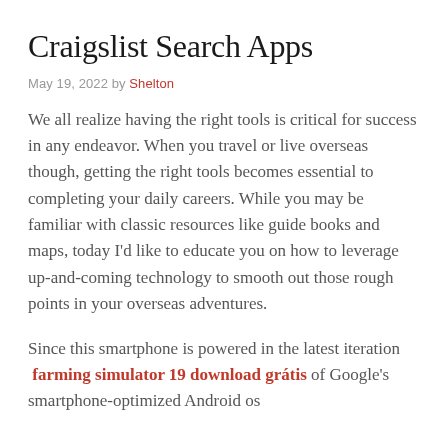Craigslist Search Apps
May 19, 2022 by Shelton
We all realize having the right tools is critical for success in any endeavor. When you travel or live overseas though, getting the right tools becomes essential to completing your daily careers. While you may be familiar with classic resources like guide books and maps, today I'd like to educate you on how to leverage up-and-coming technology to smooth out those rough points in your overseas adventures.
Since this smartphone is powered in the latest iteration farming simulator 19 download grátis of Google's smartphone-optimized Android os